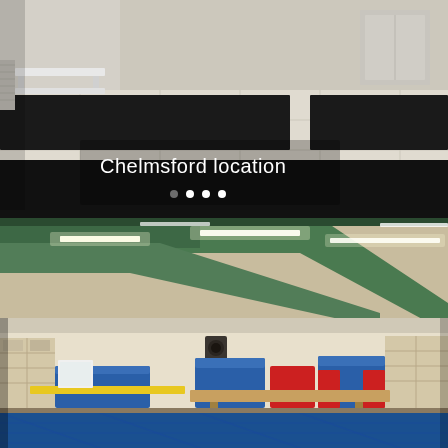[Figure (photo): Interior of a gym/studio room showing dark rubber mat flooring strips on light tile floor, with a white wooden bench against the wall and windows/radiator visible in background. Text overlay reads 'Chelmsford location' with carousel navigation dots below.]
Chelmsford location
[Figure (photo): Interior of a large gymnastics facility showing high ceiling with industrial lighting and green structural beams/ductwork. Lower half shows gymnastics equipment including a balance beam, blue and red padded mats, wall shelving units, and large blue floor mat in foreground.]